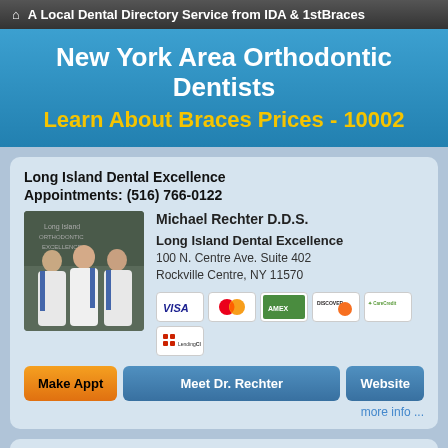A Local Dental Directory Service from IDA & 1stBraces
New York Area Orthodontic Dentists
Learn About Braces Prices - 10002
Long Island Dental Excellence
Appointments: (516) 766-0122
[Figure (photo): Three doctors in white lab coats standing in front of a sign for Long Island Dental Excellence]
Michael Rechter D.D.S.
Long Island Dental Excellence
100 N. Centre Ave. Suite 402
Rockville Centre, NY 11570
[Figure (infographic): Payment method icons: Visa, MasterCard, American Express (green), Discover, CareCredit, LendingClub]
Make Appt  Meet Dr. Rechter  Website
more info ...
Dr. Ronald R. Schwalb